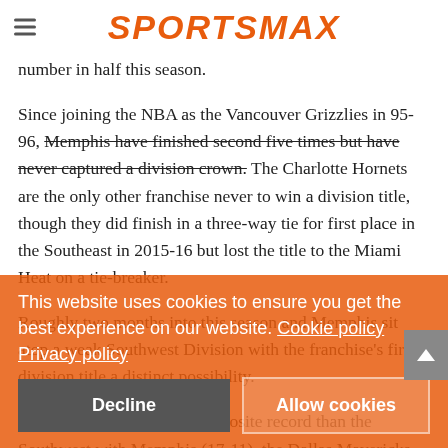SPORTSMAX
number in half this season.
Since joining the NBA as the Vancouver Grizzlies in 95-96, Memphis have finished second five times but have never captured a division crown. The Charlotte Hornets are the only other franchise never to win a division title, though they did finish in a three-way tie for first place in the Southeast in 2015-16 but lost the title to the Miami Heat on a tie-breaker.
Roughly two months into this season and Memphis sit atop a weak Southwest Division with the franchise's first division title a distinct possibility.
No division has a worse composite record than the Southwest with Memphis (17-11), the Dallas Mavericks (14-13), San Antonio Spurs (10-16), Houston Rockets (9-18) and New Orleans Pelicans (8-21) combining for a 58-79 record (42.3). Weaker division opponents certainly will not hurt the Grizzlies cause, but they appear more than capable of beating just about any team, evidenced by their 13-6 record against the Western Conference.
This website uses cookies to ensure you get the best experience on our website. Cookie policy
Privacy policy
Decline
Allow cookies